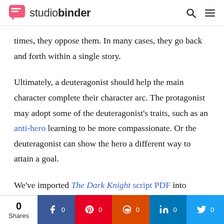studiobinder
times, they oppose them. In many cases, they go back and forth within a single story.
Ultimately, a deuteragonist should help the main character complete their character arc. The protagonist may adopt some of the deuteragonist’s traits, such as an anti-hero learning to be more compassionate. Or the deuteragonist can show the hero a different way to attain a goal.
We’ve imported The Dark Knight script PDF into
0 Shares | 0 | 0 | 0 | 0 | 0